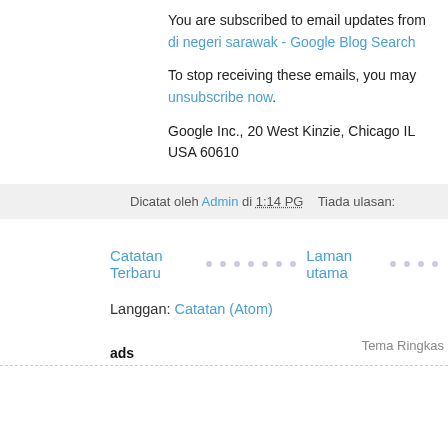You are subscribed to email updates from di negeri sarawak - Google Blog Search
To stop receiving these emails, you may unsubscribe now.
Google Inc., 20 West Kinzie, Chicago IL USA 60610
Dicatat oleh Admin di 1:14 PG   Tiada ulasan:
Catatan Terbaru · · · · · · ·   Laman utama · · · ·
Langgan: Catatan (Atom)
ads
Tema Ringkas